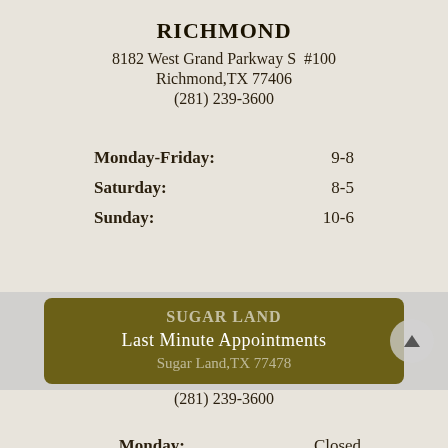RICHMOND
8182 West Grand Parkway S  #100
Richmond,TX 77406
(281) 239-3600
Monday-Friday: 9-8
Saturday: 8-5
Sunday: 10-6
[Figure (screenshot): Tooltip overlay bar with dark olive/brown background showing 'SUGAR LAND' header faintly, 'Last Minute Appointments' in white, and 'Sugar Land,TX 77478' faintly below, with scroll-up arrow button on right]
(281) 239-3600
Monday: Closed